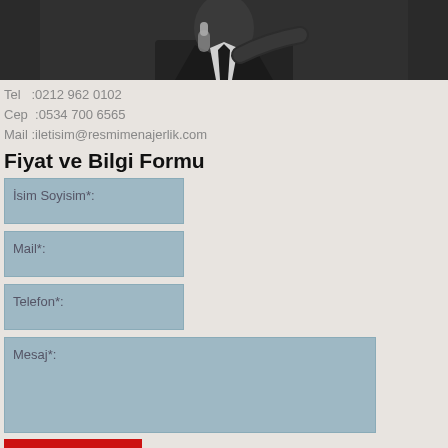[Figure (photo): A man in a dark suit holding a vintage microphone, pointing toward the camera, dark background.]
Tel   :0212 962 0102
Cep  :0534 700 6565
Mail :iletisim@resmimenajerlik.com
Fiyat ve Bilgi Formu
İsim Soyisim*:
Mail*:
Telefon*:
Mesaj*:
GÖNDER